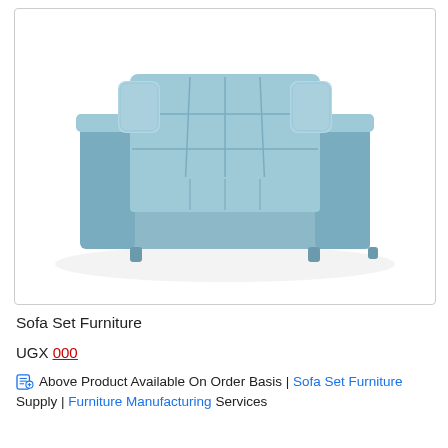[Figure (photo): A light blue/gray tufted three-seater sofa with square arms and small pillow cushions on either side of the backrest, shown on a white background in a product photo style.]
Sofa Set Furniture
UGX 000
Above Product Available On Order Basis | Sofa Set Furniture Supply | Furniture Manufacturing Services